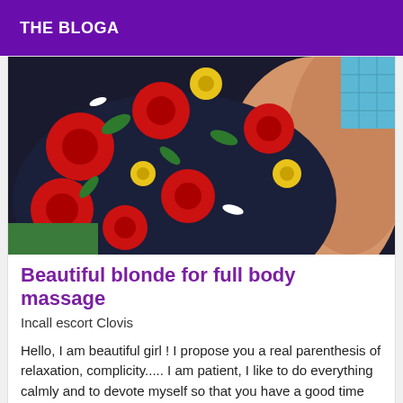THE BLOGA
[Figure (photo): Close-up photo of a person in a floral swimsuit (red, yellow, green flowers on dark background) near a pool]
Beautiful blonde for full body massage
Incall escort Clovis
Hello, I am beautiful girl ! I propose you a real parenthesis of relaxation, complicity..... I am patient, I like to do everything calmly and to devote myself so that you have a good time with me...
[Figure (other): Second listing card with VIP badge]